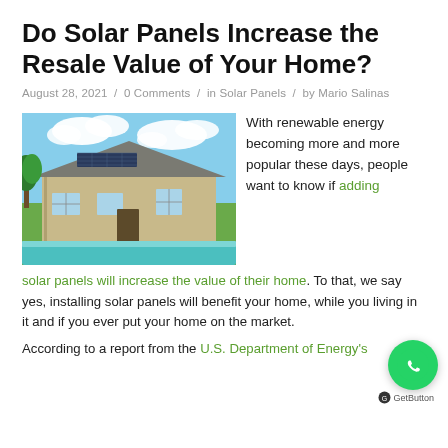Do Solar Panels Increase the Resale Value of Your Home?
August 28, 2021  /  0 Comments  /  in Solar Panels  /  by Mario Salinas
[Figure (photo): Single-story house with solar panels on the roof, a swimming pool in the foreground, green trees and blue sky with clouds in the background.]
With renewable energy becoming more and more popular these days, people want to know if adding solar panels will increase the value of their home. To that, we say yes, installing solar panels will benefit your home, while you living in it and if you ever put your home on the market.
According to a report from the U.S. Department of Energy's